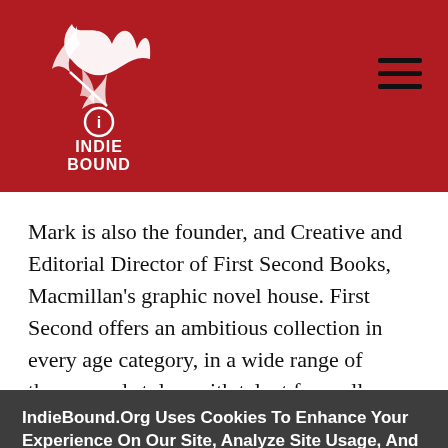IndieBound logo and navigation header
[Figure (logo): IndieBound logo: stylized white feather/bird graphic above INDIE BOUND text in white on dark red background]
Mark is also the founder, and Creative and Editorial Director of First Second Books, Macmillan's graphic novel house. First Second offers an ambitious collection in every age category, in a wide range of themes and styles, with talent from all over the
IndieBound.Org Uses Cookies To Enhance Your Experience On Our Site, Analyze Site Usage, And Assist In Our Marketing Efforts. By Clicking Accept, You Agree To The Storing Of Cookies On Your Device. View Our Cookie Policy.
Give me more info
Accept all Cookies